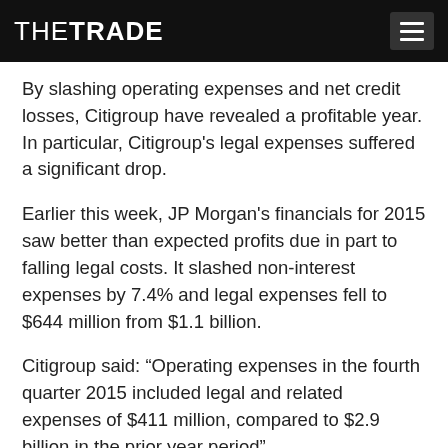THE TRADE
By slashing operating expenses and net credit losses, Citigroup have revealed a profitable year. In particular, Citigroup's legal expenses suffered a significant drop.
Earlier this week, JP Morgan's financials for 2015 saw better than expected profits due in part to falling legal costs. It slashed non-interest expenses by 7.4% and legal expenses fell to $644 million from $1.1 billion.
Citigroup said: “Operating expenses in the fourth quarter 2015 included legal and related expenses of $411 million, compared to $2.9 billion in the prior year period”
“… net income was $17.1 billion in 2015, up 49% compared to 2014, as lower operating expenses and lower net credit losses were partially offset by the lower revenues and a